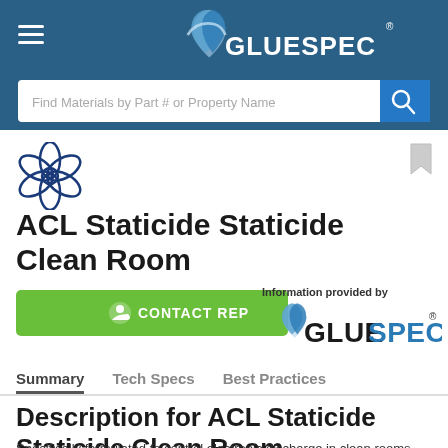[Figure (logo): GlueSpec website header with logo, hamburger menu icon, and search bar]
[Figure (logo): Snowflake-style product icon for ACL Staticide]
ACL Staticide Staticide Clean Room
[Figure (illustration): Green CONTACT REP button with person icon]
[Figure (logo): GlueSpec branding logo with text Information provided by]
Summary
Tech Specs
Best Practices
Description for ACL Staticide Staticide Clean Room
Specifically formulated to control electronic discharge in clean rooms